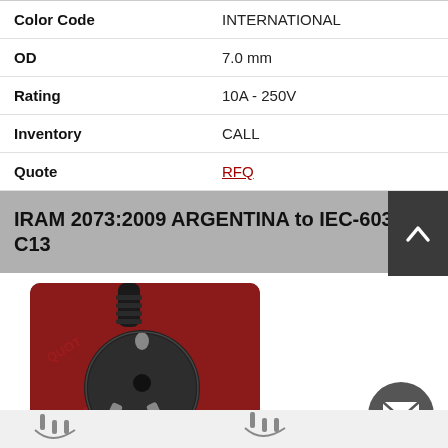| Property | Value |
| --- | --- |
| Color Code | INTERNATIONAL |
| OD | 7.0 mm |
| Rating | 10A - 250V |
| Inventory | CALL |
| Quote | RFQ |
IRAM 2073:2009 ARGENTINA to IEC-60320-C13
[Figure (photo): Photo of IRAM 2073:2009 ARGENTINA power plug connector against dark red background]
IRAM 2073:2009 ARGENTINA
[Figure (photo): Partial view of additional plug connector diagram at bottom of page]